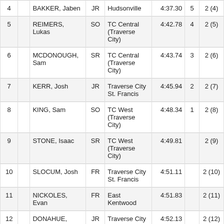| Place |  | Name | Yr | School | Time | Pts | Heat |
| --- | --- | --- | --- | --- | --- | --- | --- |
| 4 |  | BAKKER, Jaben | JR | Hudsonville | 4:37.30 | 5 | 2 (4) |
| 5 |  | REIMERS, Lukas | SO | TC Central (Traverse City) | 4:42.78 | 4 | 2 (5) |
| 6 |  | MCDONOUGH, Sam | SR | TC Central (Traverse City) | 4:43.74 | 3 | 2 (6) |
| 7 |  | KERR, Josh | JR | Traverse City St. Francis | 4:45.94 | 2 | 2 (7) |
| 8 |  | KING, Sam | SO | TC West (Traverse City) | 4:48.34 | 1 | 2 (8) |
| 9 |  | STONE, Isaac | SR | TC West (Traverse City) | 4:49.81 |  | 2 (9) |
| 10 |  | SLOCUM, Josh | FR | Traverse City St. Francis | 4:51.11 |  | 2 (10) |
| 11 |  | NICKOLES, Evan | FR | East Kentwood | 4:51.83 |  | 2 (11) |
| 12 |  | DONAHUE, Connor | JR | Traverse City St. | 4:52.13 |  | 2 (12) |